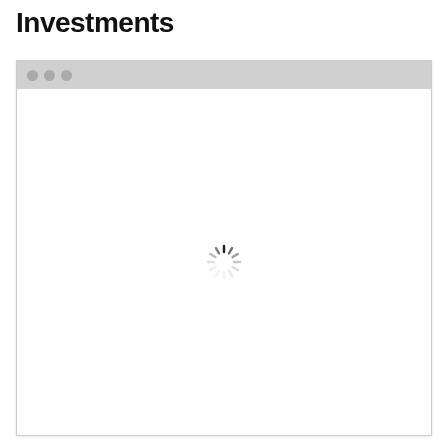Investments
[Figure (screenshot): Browser window with a gray title bar containing three gray dots (window control buttons), and a white content area showing a loading spinner in the center.]